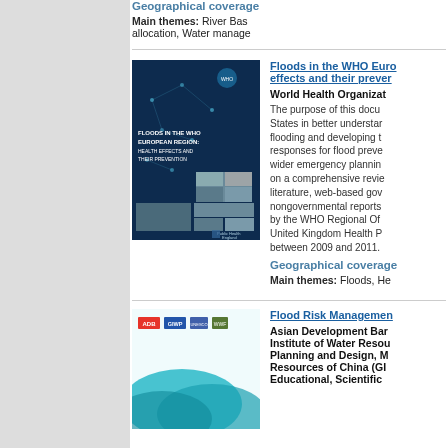Geographical coverage
Main themes: River Bas allocation, Water manage
[Figure (photo): Book cover: Floods in the WHO European Region: Health Effects and Their Prevention. Dark blue background with network pattern and photo grid. Published by WHO and Public Health England.]
Floods in the WHO Euro effects and their prever
World Health Organizat
The purpose of this docu States in better understar flooding and developing t responses for flood preve wider emergency plannin on a comprehensive revie literature, web-based gov nongovernmental reports by the WHO Regional Of United Kingdom Health P between 2009 and 2011.
Geographical coverage
Main themes: Floods, He
[Figure (photo): Book cover for Flood Risk Management publication. Light background with ADB, GIWP, UNESCO, and WWF logos at top, teal wave shapes at bottom.]
Flood Risk Managemen
Asian Development Ban Institute of Water Resou Planning and Design, M Resources of China (GI Educational, Scientific